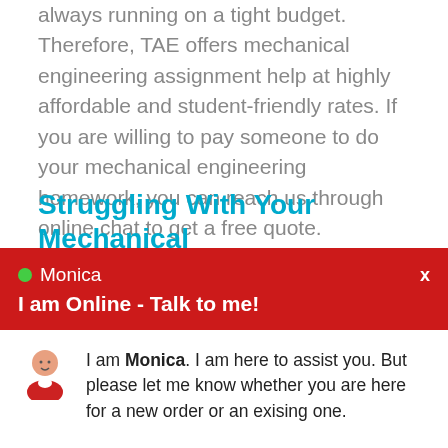always running on a tight budget. Therefore, TAE offers mechanical engineering assignment help at highly affordable and student-friendly rates. If you are willing to pay someone to do your mechanical engineering homework, you can reach us through online chat to get a free quote.
Struggling With Your Mechanical
[Figure (screenshot): Live chat widget popup with red header showing Monica (online), status 'I am Online - Talk to me!', chat message from Monica avatar, and two buttons: New Order and Existing Order]